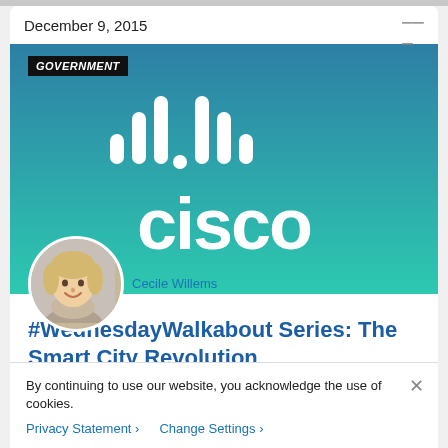December 9, 2015
[Figure (logo): Cisco logo on teal gradient background with GOVERNMENT category tag]
[Figure (photo): Circular portrait photo of Cecile Willems, a blonde woman smiling, wearing a scarf]
Cecile Willems
#WednesdayWalkabout Series: The Smart City Revolution
By continuing to use our website, you acknowledge the use of cookies.
Privacy Statement > Change Settings >